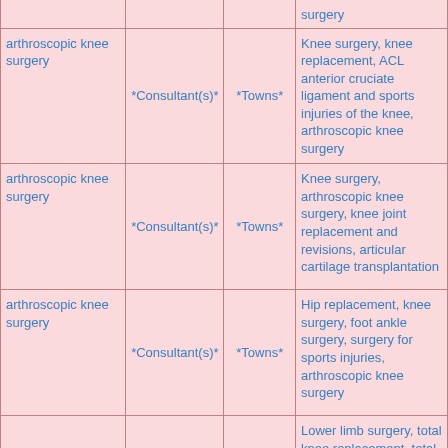| Procedure | Provider Type | Location | Related Procedures |
| --- | --- | --- | --- |
| arthroscopic knee surgery | *Consultant(s)* | *Towns* | Knee surgery, knee replacement, ACL anterior cruciate ligament and sports injuries of the knee, arthroscopic knee surgery |
| arthroscopic knee surgery | *Consultant(s)* | *Towns* | Knee surgery, arthroscopic knee surgery, knee joint replacement and revisions, articular cartilage transplantation |
| arthroscopic knee surgery | *Consultant(s)* | *Towns* | Hip replacement, knee surgery, foot ankle surgery, surgery for sports injuries, arthroscopic knee surgery |
|  |  |  | Lower limb surgery, total knee replacement, total... |